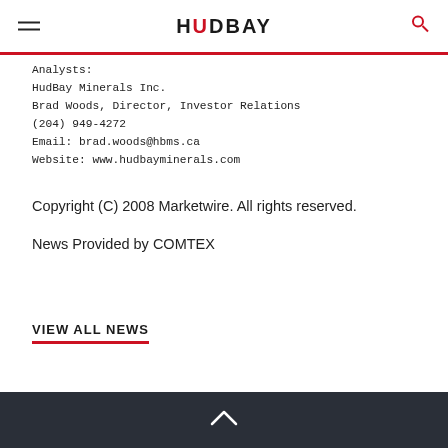HUDBAY
Analysts:
HudBay Minerals Inc.
Brad Woods, Director, Investor Relations
(204) 949-4272
Email: brad.woods@hbms.ca
Website: www.hudbayminerals.com
Copyright (C) 2008 Marketwire. All rights reserved.
News Provided by COMTEX
VIEW ALL NEWS